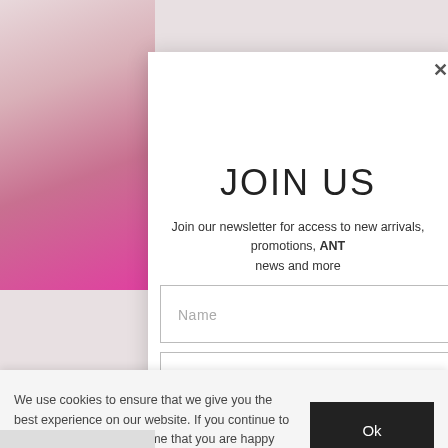[Figure (photo): Background showing a partial fashion photo with pink/magenta clothing on left side and a white modal dialog overlay]
JOIN US
Join our newsletter for access to new arrivals, promotions, ANT… news and more
Name (input placeholder)
Email (input placeholder)
SUBMIT
We use cookies to ensure that we give you the best experience on our website. If you continue to use this site we will assume that you are happy with it.
Ok